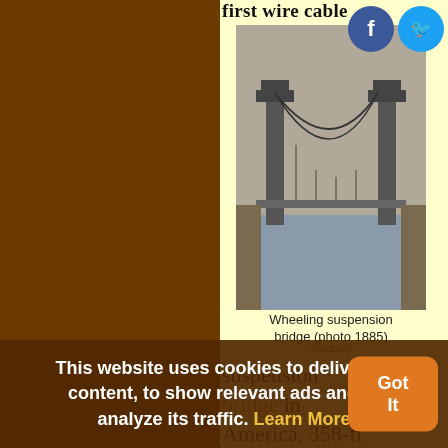[Figure (photo): Black and white aerial/elevated photograph of the Wheeling suspension bridge, taken in 1885]
Wheeling suspension bridge (photo 1885)
(source)
suspension bridge in America, 358-ft (109-m) across the Schuylkill River at Fairmont, Penn. Its 27-ft wide truss-stiffened deck was supported by five wire cables on each side. The 1,010-ft (308-m) span
This website uses cookies to deliver its content, to show relevant ads and to analyze its traffic. Learn More Got It